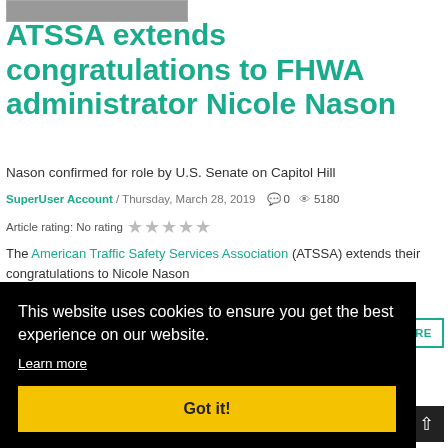[Figure (photo): Top image/photo strip at top of page]
ATSSA extends congratulations to FHWA administrator Nicole Nason
Nason confirmed for role by U.S. Senate on Capitol Hill
SuperUser Account / Thursday, March 28, 2019   0   5180
Article rating: No rating ★★★★★
The American Traffic Safety Services Association (ATSSA) extends their congratulations to Nicole Nason
This website uses cookies to ensure you get the best experience on our website.
Learn more
Got it!
[Figure (photo): Bottom photo of person at hearing]